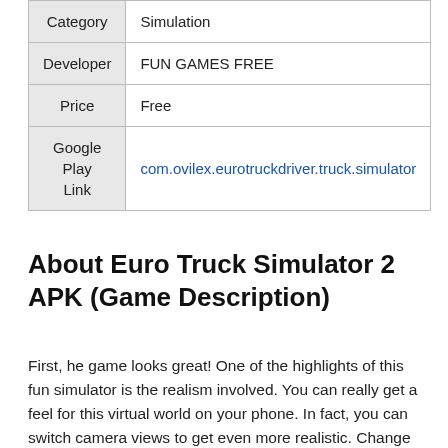|  |  |
| --- | --- |
| Category | Simulation |
| Developer | FUN GAMES FREE |
| Price | Free |
| Google Play Link | com.ovilex.eurotruckdriver.truck.simulator |
About Euro Truck Simulator 2 APK (Game Description)
First, he game looks great! One of the highlights of this fun simulator is the realism involved. You can really get a feel for this virtual world on your phone. In fact, you can switch camera views to get even more realistic. Change your view to